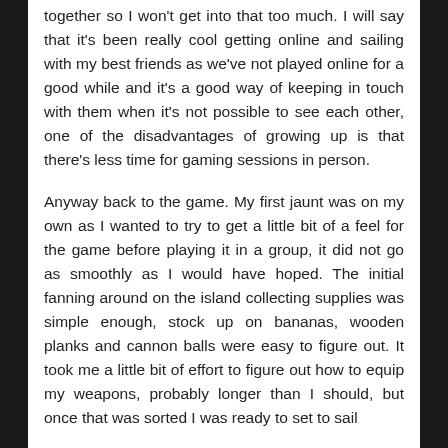together so I won't get into that too much. I will say that it's been really cool getting online and sailing with my best friends as we've not played online for a good while and it's a good way of keeping in touch with them when it's not possible to see each other, one of the disadvantages of growing up is that there's less time for gaming sessions in person.
Anyway back to the game. My first jaunt was on my own as I wanted to try to get a little bit of a feel for the game before playing it in a group, it did not go as smoothly as I would have hoped. The initial fanning around on the island collecting supplies was simple enough, stock up on bananas, wooden planks and cannon balls were easy to figure out. It took me a little bit of effort to figure out how to equip my weapons, probably longer than I should, but once that was sorted I was ready to set to sail